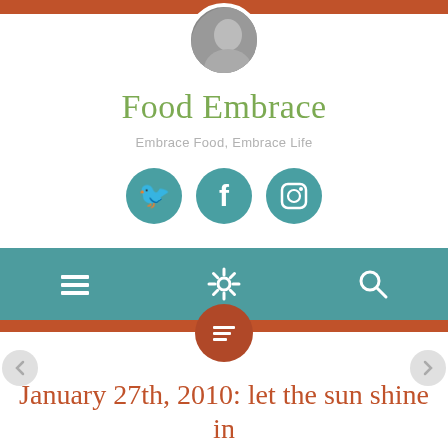[Figure (photo): Circular profile photo partially visible at top of page]
Food Embrace
Embrace Food, Embrace Life
[Figure (infographic): Three circular teal social media icons: Twitter bird, Facebook f, Instagram camera]
[Figure (infographic): Teal navigation bar with hamburger menu icon, gear/settings icon, and search icon; rust accent bars above and below; circular rust button with list icon below center]
January 27th, 2010: let the sun shine in
JANUARY 27, 2010
ANDREA